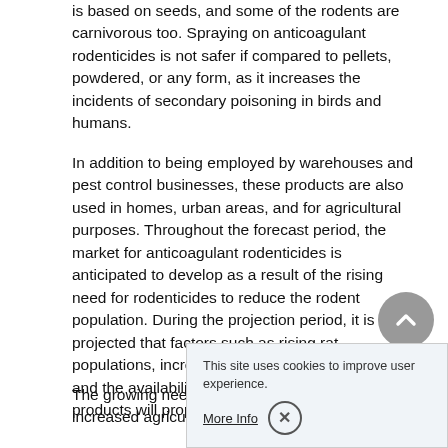is based on seeds, and some of the rodents are carnivorous too. Spraying on anticoagulant rodenticides is not safer if compared to pellets, powdered, or any form, as it increases the incidents of secondary poisoning in birds and humans.
In addition to being employed by warehouses and pest control businesses, these products are also used in homes, urban areas, and for agricultural purposes. Throughout the forecast period, the market for anticoagulant rodenticides is anticipated to develop as a result of the rising need for rodenticides to reduce the rodent population. During the projection period, it is projected that factors such as rising rat populations, increased need for rodent control, and the availability of natural rodent control products will propel market expansion.
The growing need for effective rodent control for increased agricultural yields...